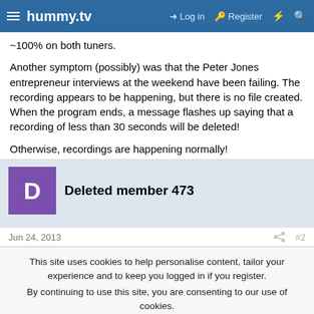hummy.tv — Log in | Register
~100% on both tuners.
Another symptom (possibly) was that the Peter Jones entrepreneur interviews at the weekend have been failing. The recording appears to be happening, but there is no file created. When the program ends, a message flashes up saying that a recording of less than 30 seconds will be deleted!
Otherwise, recordings are happening normally!
Deleted member 473
Jun 24, 2013  #2
This site uses cookies to help personalise content, tailor your experience and to keep you logged in if you register.
By continuing to use this site, you are consenting to our use of cookies.